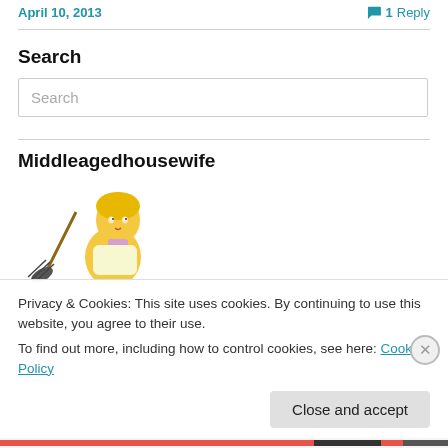April 10, 2013   1 Reply
Search
Search
Middleagedhousewife
[Figure (illustration): Cartoon illustration of a housewife with yellow hair/hat holding a broom]
Privacy & Cookies: This site uses cookies. By continuing to use this website, you agree to their use.
To find out more, including how to control cookies, see here: Cookie Policy
Close and accept